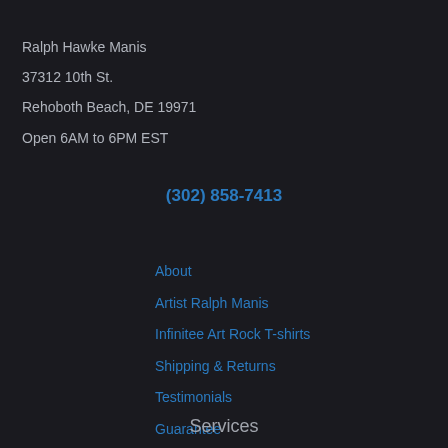Ralph Hawke Manis
37312 10th St.
Rehoboth Beach, DE 19971
Open 6AM to 6PM EST
(302) 858-7413
About
Artist Ralph Manis
Infinitee Art Rock T-shirts
Shipping & Returns
Testimonials
Guarantee
Services